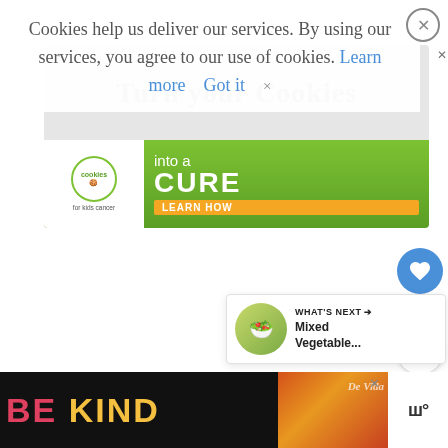Cookies help us deliver our services. By using our services, you agree to our use of cookies. Learn more   Got it   ×
[Figure (infographic): Cookies for Kids Cancer ad banner: 'Turn your Cookies into a CURE LEARN HOW' with green background and organization logo]
[Figure (infographic): Heart (like) button with blue circle background, count 23, and share button below]
[Figure (infographic): WHAT'S NEXT panel showing Mixed Vegetable... next item with thumbnail image]
[Figure (infographic): Bottom advertisement bar: BE KIND text in red and yellow on black background with decorative design and close button]